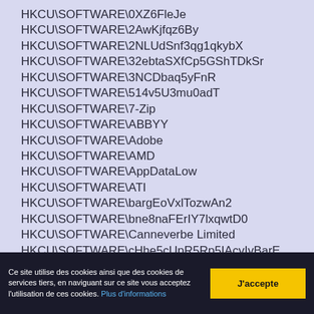HKCU\SOFTWARE\0XZ6FleJe
HKCU\SOFTWARE\2AwKjfqz6By
HKCU\SOFTWARE\2NLUdSnf3qg1qkybX
HKCU\SOFTWARE\32ebtaSXfCp5GShTDkSr
HKCU\SOFTWARE\3NCDbaq5yFnR
HKCU\SOFTWARE\514v5U3mu0adT
HKCU\SOFTWARE\7-Zip
HKCU\SOFTWARE\ABBYY
HKCU\SOFTWARE\Adobe
HKCU\SOFTWARE\AMD
HKCU\SOFTWARE\AppDataLow
HKCU\SOFTWARE\ATI
HKCU\SOFTWARE\bargEoVxlTozwAn2
HKCU\SOFTWARE\bne8naFErIY7lxqwtD0
HKCU\SOFTWARE\Canneverbe Limited
HKCU\SOFTWARE\cHhe5cUpR5Rp5IAcvIvBarE
HKCU\SOFTWARE\Chromium
HKCU\SOFTWARE\CyberLink
HKCU\SOFTWARE\EasyBits
Ce site utilise des cookies ainsi que des cookies de services tiers, en naviguant sur ce site vous acceptez l'utilisation de ces cookies. Plus d'informations